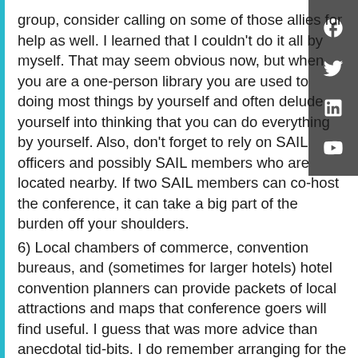group, consider calling on some of those allies for help as well. I learned that I couldn't do it all by myself. That may seem obvious now, but when you are a one-person library you are used to doing most things by yourself and often delude yourself into thinking that you can do everything by yourself. Also, don't forget to rely on SAIL officers and possibly SAIL members who are located nearby. If two SAIL members can co-host the conference, it can take a big part of the burden off your shoulders.
6) Local chambers of commerce, convention bureaus, and (sometimes for larger hotels) hotel convention planners can provide packets of local attractions and maps that conference goers will find useful. I guess that was more advice than anecdotal tid-bits. I do remember arranging for the lunch dessert to be my favorite, pound cake, only to find that that was probably way too heavy a dessert for the conference goers. But then, I got to take a lot of leftover pound cake home, so I really didn't complain.
7) For marine institutes at remote locations, you will probably need to have food catered by a local restaurant.